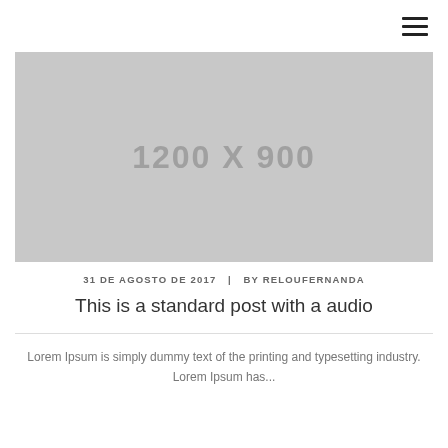≡
[Figure (other): Gray placeholder image showing dimensions 1200 X 900]
31 DE AGOSTO DE 2017  |  BY RELOUFERNANDA
This is a standard post with a audio
Lorem Ipsum is simply dummy text of the printing and typesetting industry. Lorem Ipsum has...